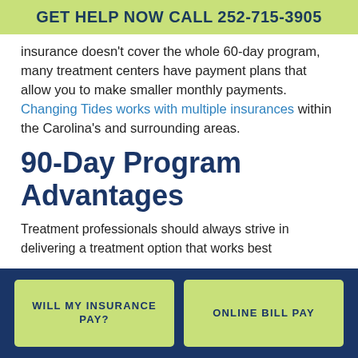GET HELP NOW CALL 252-715-3905
insurance doesn't cover the whole 60-day program, many treatment centers have payment plans that allow you to make smaller monthly payments. Changing Tides works with multiple insurances within the Carolina's and surrounding areas.
90-Day Program Advantages
Treatment professionals should always strive in delivering a treatment option that works best
WILL MY INSURANCE PAY?    ONLINE BILL PAY